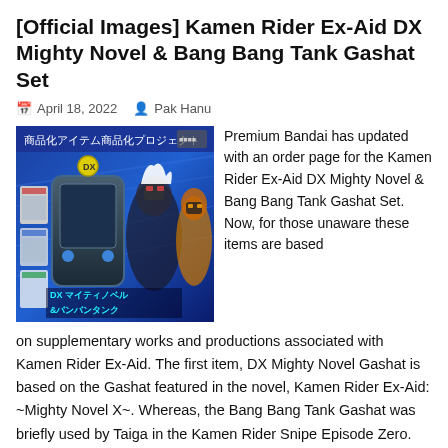[Official Images] Kamen Rider Ex-Aid DX Mighty Novel & Bang Bang Tank Gashat Set
April 18, 2022   Pak Hanu
[Figure (photo): Product image of Kamen Rider Ex-Aid DX Mighty Novel & Bang Bang Tank Gashat Set with Japanese text and anime characters in the background]
Premium Bandai has updated with an order page for the Kamen Rider Ex-Aid DX Mighty Novel & Bang Bang Tank Gashat Set. Now, for those unaware these items are based on supplementary works and productions associated with Kamen Rider Ex-Aid. The first item, DX Mighty Novel Gashat is based on the Gashat featured in the novel, Kamen Rider Ex-Aid: ~Mighty Novel X~. Whereas, the Bang Bang Tank Gashat was briefly used by Taiga in the Kamen Rider Snipe Episode Zero. However, the Gashat was only used within his Gashacon Magnum,...